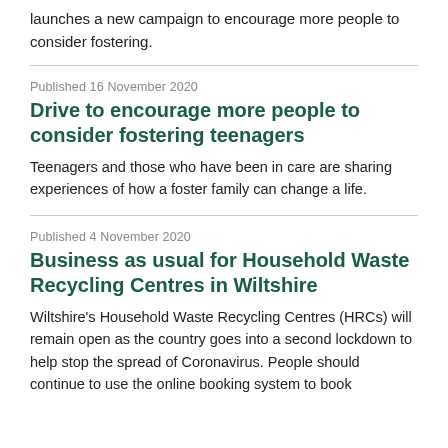launches a new campaign to encourage more people to consider fostering.
Published 16 November 2020
Drive to encourage more people to consider fostering teenagers
Teenagers and those who have been in care are sharing experiences of how a foster family can change a life.
Published 4 November 2020
Business as usual for Household Waste Recycling Centres in Wiltshire
Wiltshire's Household Waste Recycling Centres (HRCs) will remain open as the country goes into a second lockdown to help stop the spread of Coronavirus. People should continue to use the online booking system to book